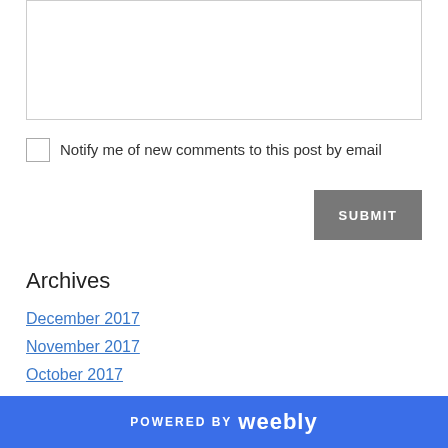[Figure (screenshot): A textarea input box with a thin border, partially cut off at the top]
Notify me of new comments to this post by email
SUBMIT
Archives
December 2017
November 2017
October 2017
POWERED BY weebly